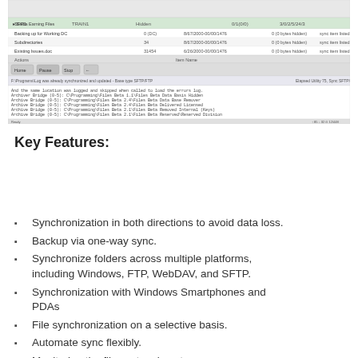[Figure (screenshot): A Windows file synchronization software interface showing file manager with sync status, log window with synchronization messages and folder paths.]
Key Features:
Synchronization in both directions to avoid data loss.
Backup via one-way sync.
Synchronize folders across multiple platforms, including Windows, FTP, WebDAV, and SFTP.
Synchronization with Windows Smartphones and PDAs
File synchronization on a selective basis.
Automate sync flexibly.
Monitoring the file system is not necessary.
Multiple devices can be synced for maximum convenience.
Non-archive file system.